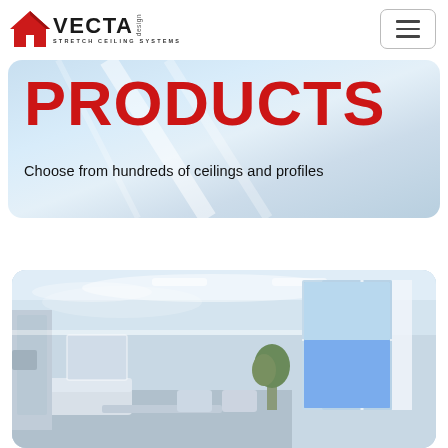[Figure (logo): Vecta Design Stretch Ceiling Systems logo with red house/roof icon and hamburger menu button]
PRODUCTS
Choose from hundreds of ceilings and profiles
[Figure (photo): Interior room photo showing a modern living space with glossy stretch ceiling, large windows overlooking the sea, white furniture, and decorative plants]